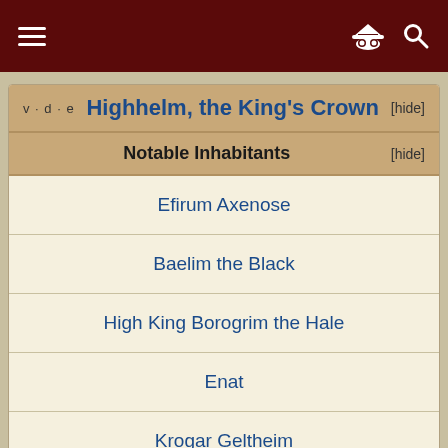Navigation bar with hamburger menu, incognito icon, and search icon
Highhelm, the King's Crown
Notable Inhabitants
Efirum Axenose
Baelim the Black
High King Borogrim the Hale
Enat
Krogar Geltheim
Eirjana Giltbrand
Chief Helmsman Mugholt Grom